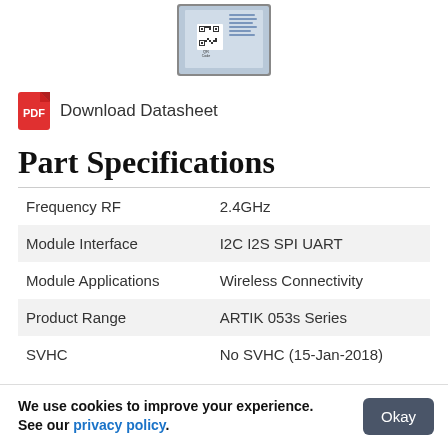[Figure (photo): Photo of a small electronic module/chip with a QR code label on it, shown from above with a gray border/frame.]
Download Datasheet
Part Specifications
|  |  |
| --- | --- |
| Frequency RF | 2.4GHz |
| Module Interface | I2C I2S SPI UART |
| Module Applications | Wireless Connectivity |
| Product Range | ARTIK 053s Series |
| SVHC | No SVHC (15-Jan-2018) |
We use cookies to improve your experience. See our privacy policy. Okay